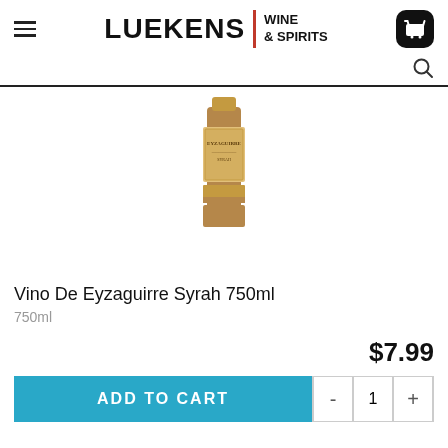LUEKENS | WINE & SPIRITS
[Figure (screenshot): Wine bottle product image: Vino De Eyzaguirre Syrah 750ml bottle with gold/copper label and packaging]
Vino De Eyzaguirre Syrah 750ml
750ml
$7.99
ADD TO CART